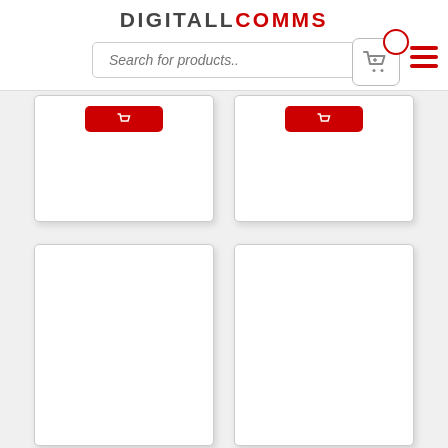[Figure (logo): DigitAllComms logo with DIGITALL in dark gray and COMMS in red, bold uppercase letters]
[Figure (screenshot): Search bar with placeholder text 'Search for products..' in italic gray, shopping cart icon button with red circular badge, and red hamburger menu icon in top right]
[Figure (screenshot): Two product card rows: top row shows two white product cards with red add-to-cart buttons; bottom row shows two tall empty white product cards]